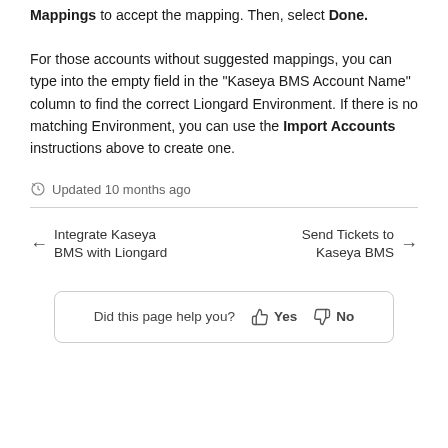Mappings to accept the mapping. Then, select Done.

For those accounts without suggested mappings, you can type into the empty field in the "Kaseya BMS Account Name" column to find the correct Liongard Environment. If there is no matching Environment, you can use the Import Accounts instructions above to create one.
Updated 10 months ago
Integrate Kaseya BMS with Liongard
Send Tickets to Kaseya BMS
Did this page help you?  Yes  No